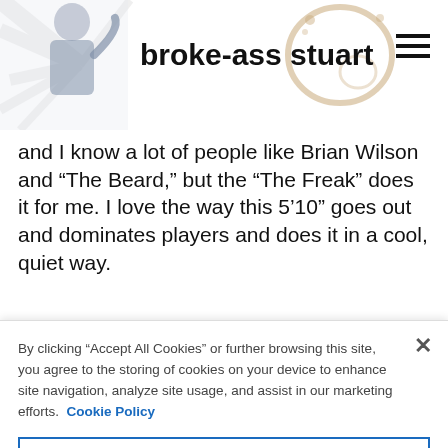[Figure (logo): Broke-Ass Stuart website header with logo image of a man and decorative coffee stain, site name 'broke-ass stuart', and hamburger menu icon]
and I know a lot of people like Brian Wilson and “The Beard,” but the “The Freak” does it for me. I love the way this 5’10” goes out and dominates players and does it in a cool, quiet way.
By clicking “Accept All Cookies” or further browsing this site, you agree to the storing of cookies on your device to enhance site navigation, analyze site usage, and assist in our marketing efforts.  Cookie Policy
Cookies Settings
Reject All
Accept All Cookies